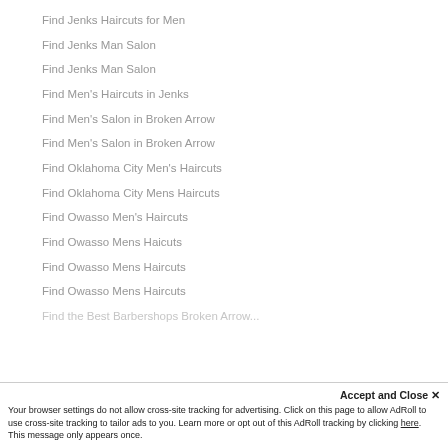Find Jenks Haircuts for Men
Find Jenks Man Salon
Find Jenks Man Salon
Find Men's Haircuts in Jenks
Find Men's Salon in Broken Arrow
Find Men's Salon in Broken Arrow
Find Oklahoma City Men's Haircuts
Find Oklahoma City Mens Haircuts
Find Owasso Men's Haircuts
Find Owasso Mens Haicuts
Find Owasso Mens Haircuts
Find Owasso Mens Haircuts
Find the Best Barbershops Broken Arrow...
Accept and Close ✕
Your browser settings do not allow cross-site tracking for advertising. Click on this page to allow AdRoll to use cross-site tracking to tailor ads to you. Learn more or opt out of this AdRoll tracking by clicking here. This message only appears once.